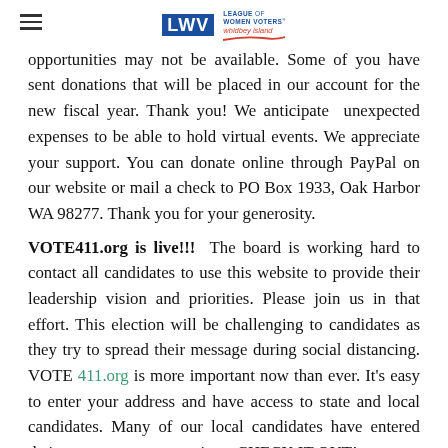LWV – League of Women Voters, Whidbey Island
opportunities may not be available. Some of you have sent donations that will be placed in our account for the new fiscal year. Thank you! We anticipate  unexpected expenses to be able to hold virtual events. We appreciate your support. You can donate online through PayPal on our website or mail a check to PO Box 1933, Oak Harbor WA 98277. Thank you for your generosity.
VOTE411.org is live!!!  The board is working hard to contact all candidates to use this website to provide their leadership vision and priorities. Please join us in that effort. This election will be challenging to candidates as they try to spread their message during social distancing. VOTE 411.org is more important now than ever. It's easy to enter your address and have access to state and local candidates. Many of our local candidates have entered their answers to our questions. CHECK IT OUT!
Finance Committee: The Finance Committee is meeting in...